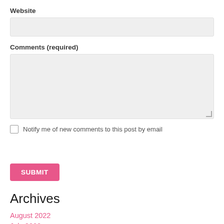Website
Comments (required)
Notify me of new comments to this post by email
SUBMIT
Archives
August 2022
July 2022
March 2022
February 2022